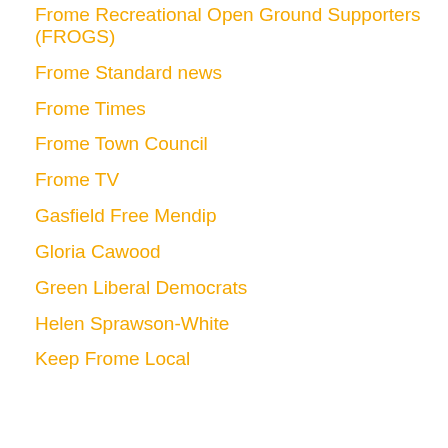Frome Recreational Open Ground Supporters (FROGS)
Frome Standard news
Frome Times
Frome Town Council
Frome TV
Gasfield Free Mendip
Gloria Cawood
Green Liberal Democrats
Helen Sprawson-White
Keep Frome Local